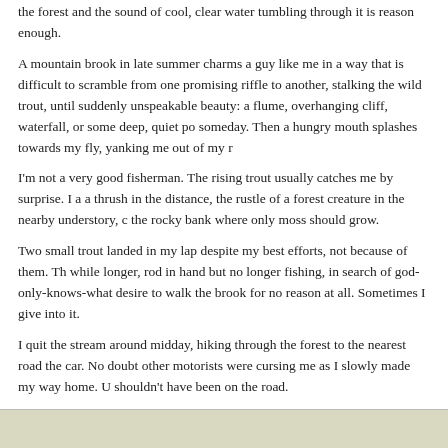the forest and the sound of cool, clear water tumbling through it is reason enough.
A mountain brook in late summer charms a guy like me in a way that is difficult to describe. I scramble from one promising riffle to another, stalking the wild trout, until suddenly I encounter unspeakable beauty: a flume, overhanging cliff, waterfall, or some deep, quiet pool I must fish someday. Then a hungry mouth splashes towards my fly, yanking me out of my reverie.
I'm not a very good fisherman. The rising trout usually catches me by surprise. I am listening to a thrush in the distance, the rustle of a forest creature in the nearby understory, or the ferns on the rocky bank where only moss should grow.
Two small trout landed in my lap despite my best efforts, not because of them. Then I lingered a while longer, rod in hand but no longer fishing, in search of god-only-knows-what, or perhaps the desire to walk the brook for no reason at all. Sometimes I give into it.
I quit the stream around midday, hiking through the forest to the nearest road then driving home in my car. No doubt other motorists were cursing me as I slowly made my way home. Unlike them, I shouldn't have been on the road.
Tags: fly fishing, mountain brook, reverie, summer, the wild, trout fishing
One response so far